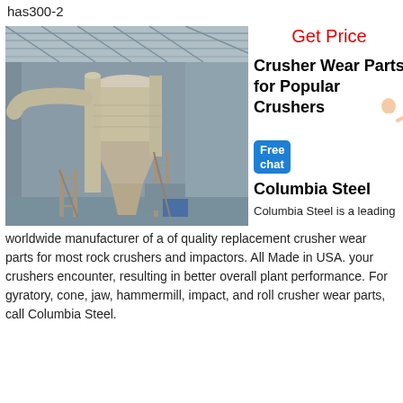has300-2
Get Price
Crusher Wear Parts for Popular Crushers Columbia Steel
[Figure (photo): Industrial grinding/milling machine inside a large warehouse/factory with metal roof structure. The machine is cream/beige colored with large cylindrical and conical components and supporting framework.]
Columbia Steel is a leading worldwide manufacturer of a of quality replacement crusher wear parts for most rock crushers and impactors. All Made in USA. your crushers encounter, resulting in better overall plant performance. For gyratory, cone, jaw, hammermill, impact, and roll crusher wear parts, call Columbia Steel.